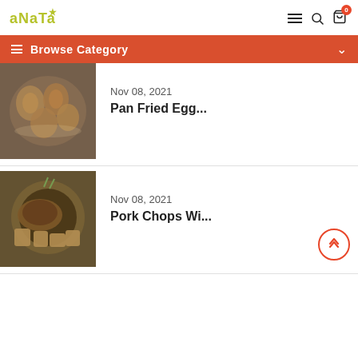anata (logo) with hamburger, search, and cart (0) icons
Browse Category
[Figure (photo): Pan fried egg dishes on a white plate, food photography]
Nov 08, 2021
Pan Fried Egg...
[Figure (photo): Pork chops with diced vegetables in a cast iron pan, food photography]
Nov 08, 2021
Pork Chops Wi...